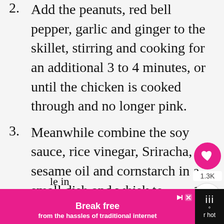2. Add the peanuts, red bell pepper, garlic and ginger to the skillet, stirring and cooking for an additional 3 to 4 minutes, or until the chicken is cooked through and no longer pink.
3. Meanwhile combine the soy sauce, rice vinegar, Sriracha, sesame oil and cornstarch in a small dish and whisk to combine. Add the sauce and green onions to the skillet and cook, stirring until the sauce thickens and coats the chicken.
[Figure (screenshot): UI overlay with heart/like button showing pink circle with heart icon, count label 1.3K, and share button]
[Figure (screenshot): What's Next promotional box showing Broccoli Chicken Stir... with food thumbnail image]
[Figure (screenshot): Advertisement banner: Break free from the hassles of traditional internet, pink background with white bold text]